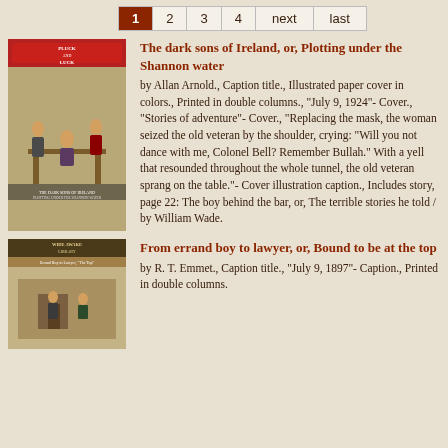1  2  3  4  next  last
[Figure (illustration): Book cover of Pluck and Luck showing dramatic scene with figures]
The dark sons of Ireland, or, Plotting under the Shannon water
by Allan Arnold., Caption title., Illustrated paper cover in colors., Printed in double columns., "July 9, 1924"- Cover., "Stories of adventure"- Cover., "Replacing the mask, the woman seized the old veteran by the shoulder, crying: "Will you not dance with me, Colonel Bell? Remember Bullah." With a yell that resounded throughout the whole tunnel, the old veteran sprang on the table."- Cover illustration caption., Includes story, page 22: The boy behind the bar, or, The terrible stories he told / by William Wade.
[Figure (illustration): Book cover of Wide Awake Library showing Errand Boy to Lawyer scene]
From errand boy to lawyer, or, Bound to be at the top
by R. T. Emmet., Caption title., "July 9, 1897"- Caption., Printed in double columns.